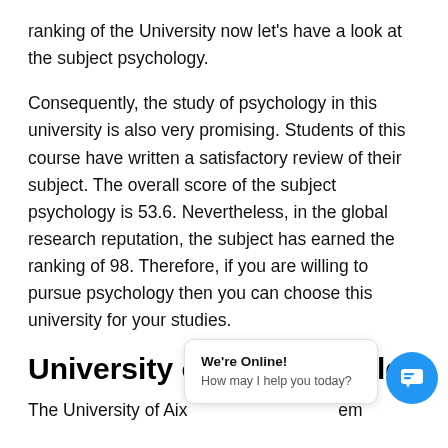ranking of the University now let's have a look at the subject psychology.
Consequently, the study of psychology in this university is also very promising. Students of this course have written a satisfactory review of their subject. The overall score of the subject psychology is 53.6. Nevertheless, in the global research reputation, the subject has earned the ranking of 98. Therefore, if you are willing to pursue psychology then you can choose this university for your studies.
University of Aix-Marseille
The University of Aix… em…